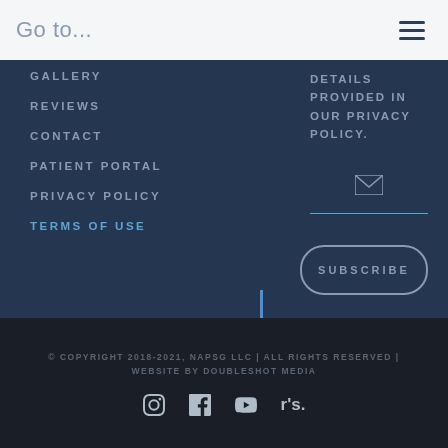Go to...
GALLERY
REVIEWS
CONTACT
PATIENT PORTAL
PRIVACY POLICY
TERMS OF USE
DETAILS PROVIDED IN OUR PRIVACY POLICY.
© COPYRIGHT 2018-2021, NAPSG LLC | ALL RIGHTS RESERVED | WEBSITE BY DOUBLESHOT MEDIA